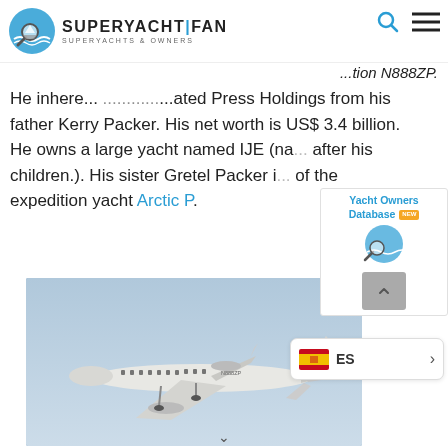[Figure (logo): Superyacht Fan logo with magnifying glass over water waves icon, text SUPERYACHT|FAN and SUPERYACHTS & OWNERS]
...tion N888ZP.
He inheri... ...ated Press Holdings from his father Kerry Packer. His net worth is US$ 3.4 billion. He owns a large yacht named IJE (na... after his children.). His sister Gretel Packer i... of the expedition yacht Arctic P.
[Figure (infographic): Yacht Owners Database promotional widget with logo and NEW badge]
[Figure (photo): Private jet aircraft (registration N888ZP) in flight against blue sky]
[Figure (screenshot): Language selector showing ES (Spanish) with flag and arrow]
[Figure (other): Scroll-up button with chevron up icon]